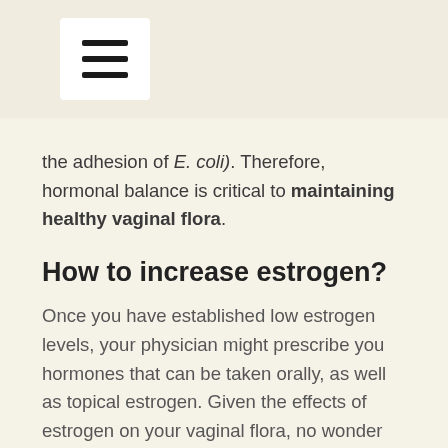[Figure (other): Hamburger/menu icon button in a white rounded box on a beige background header area]
the adhesion of E. coli). Therefore, hormonal balance is critical to maintaining healthy vaginal flora.
How to increase estrogen?
Once you have established low estrogen levels, your physician might prescribe you hormones that can be taken orally, as well as topical estrogen. Given the effects of estrogen on your vaginal flora, no wonder there are more and more studies demonstrating that estrogen treatment delivered vaginally may help prevent repeat